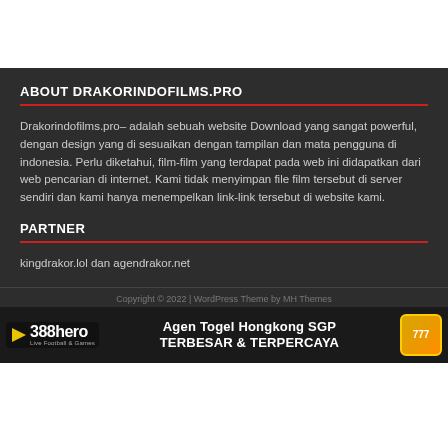ABOUT DRAKORINDOFILMS.PRO
Drakorindofilms.pro– adalah sebuah website Download yang sangat powerful, dengan design yang di sesuaikan dengan tampilan dan mata pengguna di indonesia. Perlu diketahui, film-film yang terdapat pada web ini didapatkan dari web pencarian di internet. Kami tidak menyimpan file film tersebut di server sendiri dan kami hanya menempelkan link-link tersebut di website kami.
PARTNER
kingdrakor.lol dan agendrakor.net
Copyright © 2022 | WordPress Theme by MH Themes
[Figure (infographic): Advertisement banner for 388hero - Agen Togel Hongkong SGP TERBESAR & TERPERCAYA with 777 slot logo]